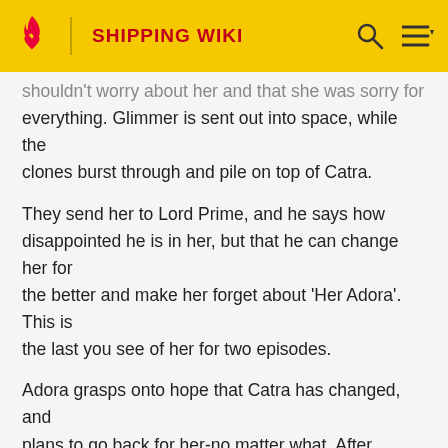SHIPPING WIKI
shouldn't worry about her and that she was sorry for everything. Glimmer is sent out into space, while the clones burst through and pile on top of Catra.
They send her to Lord Prime, and he says how disappointed he is in her, but that he can change her for the better and make her forget about 'Her Adora'. This is the last you see of her for two episodes.
Adora grasps onto hope that Catra has changed, and plans to go back for her-no matter what. After getting fuel crystals, they arrive on the ship. She pretends to be a prisoner and hands herself over to Lord Prime, ordering him to tell her where Catra is. Lord Prime calls Catra by the name of 'Little sister' and she walks forward with